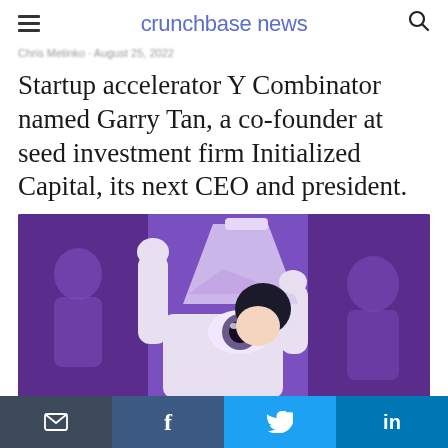crunchbase news
Chris Metinko · August 25, 2022
Startup accelerator Y Combinator named Garry Tan, a co-founder at seed investment firm Initialized Capital, its next CEO and president.
[Figure (illustration): Illustrated image on purple background showing a person in a lab coat holding a triangular flask up to their eye, with silhouetted figures in the background. The illustration has a purple/violet color scheme.]